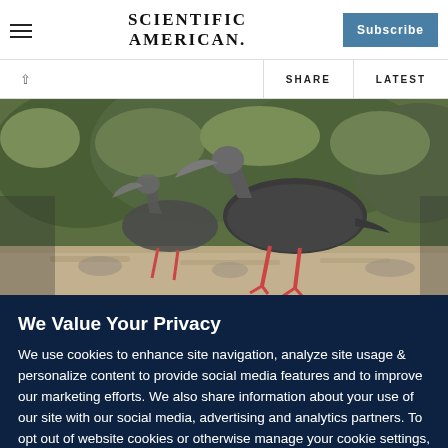SCIENTIFIC AMERICAN
SHARE   LATEST
[Figure (photo): Two ibis birds (dark-feathered wading birds with long curved beaks) standing on sandy ground with green shrubby vegetation in the background.]
We Value Your Privacy
We use cookies to enhance site navigation, analyze site usage & personalize content to provide social media features and to improve our marketing efforts. We also share information about your use of our site with our social media, advertising and analytics partners. To opt out of website cookies or otherwise manage your cookie settings, click on Cookie Settings. View our